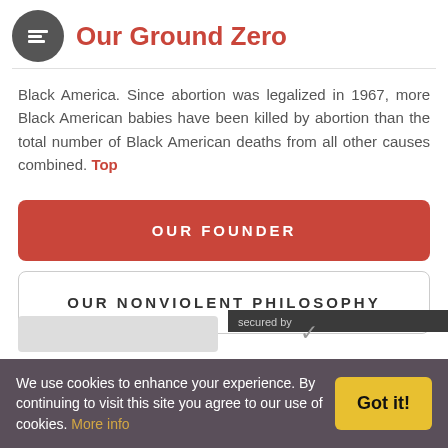Our Ground Zero
Black America. Since abortion was legalized in 1967, more Black American babies have been killed by abortion than the total number of Black American deaths from all other causes combined. Top
OUR FOUNDER
OUR NONVIOLENT PHILOSOPHY
We use cookies to enhance your experience. By continuing to visit this site you agree to our use of cookies. More info